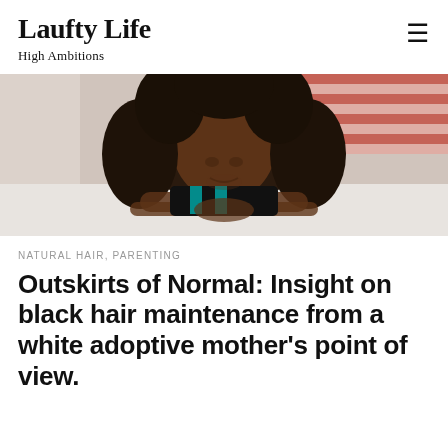Laufty Life
High Ambitions
[Figure (photo): A young Black girl with long curly natural hair lying on a white surface, smiling at the camera. She is wearing a black and teal top. Background shows a red and white striped surface.]
NATURAL HAIR, PARENTING
Outskirts of Normal: Insight on black hair maintenance from a white adoptive mother’s point of view.